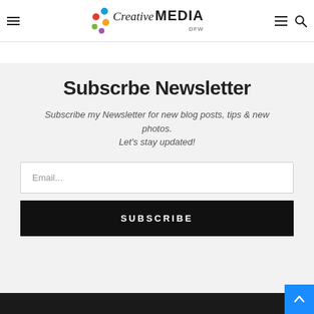Creative DFW MEDIA — navigation header with hamburger menu, logo, and search icon
Subscrbe Newsletter
Subscribe my Newsletter for new blog posts, tips & new photos. Let's stay updated!
Email...
SUBSCRIBE